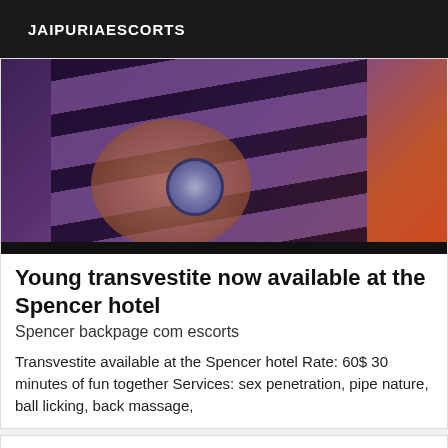JAIPURIAESCORTS
[Figure (photo): Close-up photo of legs with dark straps and a circular badge/button accessory, against a red/purple background]
Young transvestite now available at the Spencer hotel
Spencer backpage com escorts
Transvestite available at the Spencer hotel Rate: 60$ 30 minutes of fun together Services: sex penetration, pipe nature, ball licking, back massage,
[Figure (other): Partial card with VIP badge in bottom right corner]